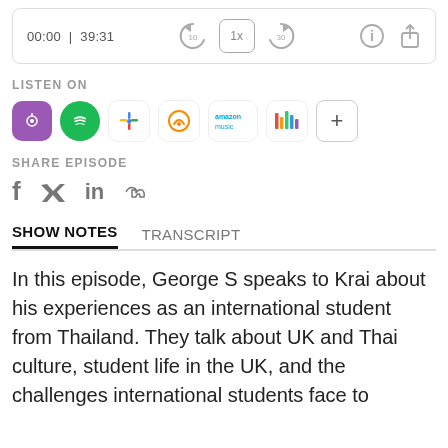[Figure (screenshot): Podcast player bar showing time 00:00 | 39:31 with playback controls (rewind 10, 1x speed, forward 30), info and share icons]
LISTEN ON
[Figure (infographic): Row of podcast platform icons: Apple Podcasts (purple), Spotify (green), Google Podcasts (colorful dots), Overcast (orange), Amazon Music, iHeart, and a + button]
SHARE EPISODE
[Figure (infographic): Social share icons: Facebook (f), Twitter (bird), LinkedIn (in), and link icon]
SHOW NOTES
In this episode, George S speaks to Krai about his experiences as an international student from Thailand. They talk about UK and Thai culture, student life in the UK, and the challenges international students face to